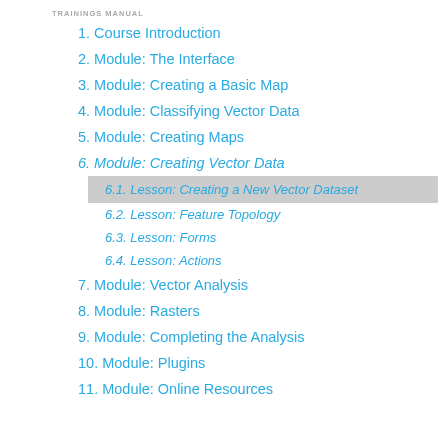TRAININGS MANUAL
1. Course Introduction
2. Module: The Interface
3. Module: Creating a Basic Map
4. Module: Classifying Vector Data
5. Module: Creating Maps
6. Module: Creating Vector Data
6.1. Lesson: Creating a New Vector Dataset
6.2. Lesson: Feature Topology
6.3. Lesson: Forms
6.4. Lesson: Actions
7. Module: Vector Analysis
8. Module: Rasters
9. Module: Completing the Analysis
10. Module: Plugins
11. Module: Online Resources